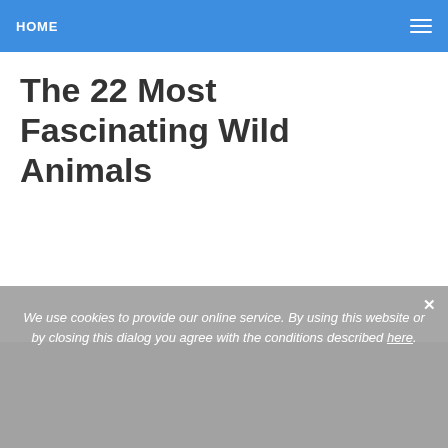HOME
The 22 Most Fascinating Wild Animals
We use cookies to provide our online service. By using this website or by closing this dialog you agree with the conditions described here.